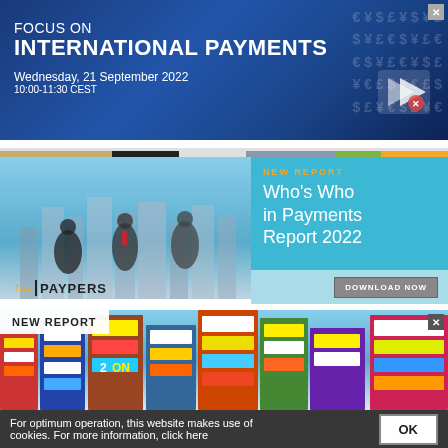[Figure (other): Advertisement banner: 'FOCUS ON INTERNATIONAL PAYMENTS' webinar, Wednesday, 21 September 2022, 10:00-11:30 CEST, blue background with financial currency symbols]
[Figure (other): Advertisement for 'Who's Who in Payments Report 2022' by The Paypers, with photo of people jumping, teal/orange design, DOWNLOAD NOW button]
[Figure (other): Advertisement banner: NEW REPORT with city photo (Japanese street scene)]
For optimum operation, this website makes use of cookies. For more information, click here
OK